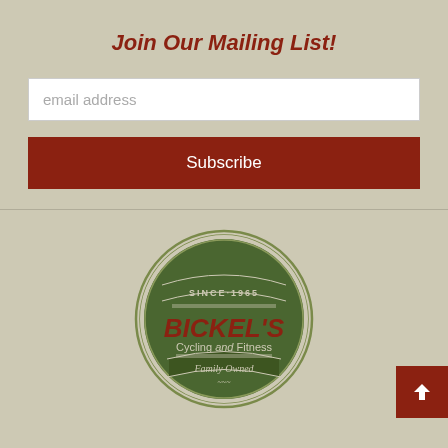Join Our Mailing List!
email address
Subscribe
[Figure (logo): Bickel's Cycling and Fitness circular logo with 'SINCE·1965' at top, 'BICKEL'S' in large red text, 'Cycling and Fitness' below, and 'Family Owned' at bottom, all on a dark green background within a circular border.]